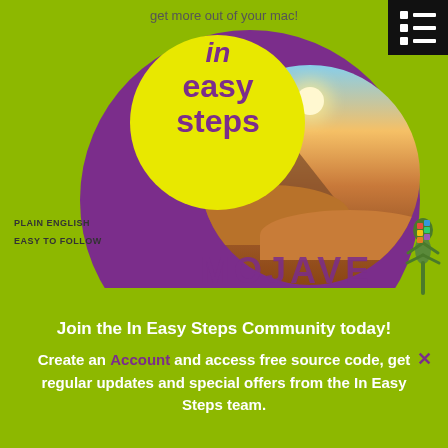[Figure (illustration): Book cover for 'macOS Mojave in Easy Steps' — green background with large purple circle, yellow circle logo with 'in easy steps' text, circular desert scene (Mojave), gecko decoration, PLAIN ENGLISH / EASY TO FOLLOW labels, MOJAVE text.]
get more out of your mac!
PLAIN ENGLISH
EASY TO FOLLOW
MOJAVE
Join the In Easy Steps Community today!
Create an Account and access free source code, get regular updates and special offers from the In Easy Steps team.